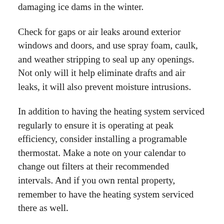damaging ice dams in the winter.
Check for gaps or air leaks around exterior windows and doors, and use spray foam, caulk, and weather stripping to seal up any openings. Not only will it help eliminate drafts and air leaks, it will also prevent moisture intrusions.
In addition to having the heating system serviced regularly to ensure it is operating at peak efficiency, consider installing a programable thermostat. Make a note on your calendar to change out filters at their recommended intervals. And if you own rental property, remember to have the heating system serviced there as well.
As old lightbulbs burn out, there are a lot of new lightbulb styles, including LEDs, that use considerably less electricity than older types.
For those wanting to make some big changes, consider solar panels. Some experts believe they can be paid off in seven